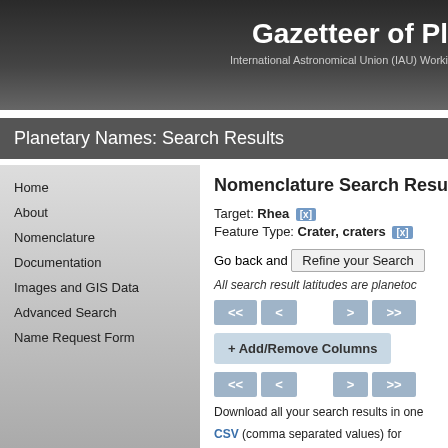Gazetteer of Pl
International Astronomical Union (IAU) Worki
Planetary Names: Search Results
Home
About
Nomenclature
Documentation
Images and GIS Data
Advanced Search
Name Request Form
Nomenclature Search Results
Target: Rhea [x]
Feature Type: Crater, craters [x]
Go back and Refine your Search
All search result latitudes are planetoc
+ Add/Remove Columns
Download all your search results in one
CSV (comma separated values) for